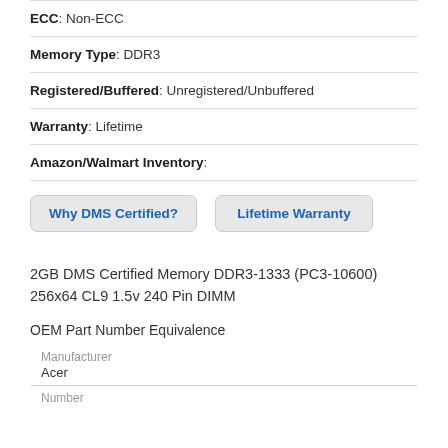ECC: Non-ECC
Memory Type: DDR3
Registered/Buffered: Unregistered/Unbuffered
Warranty: Lifetime
Amazon/Walmart Inventory:
Why DMS Certified?
Lifetime Warranty
2GB DMS Certified Memory DDR3-1333 (PC3-10600) 256x64 CL9 1.5v 240 Pin DIMM
OEM Part Number Equivalence
| Manufacturer | Number |
| --- | --- |
| Acer |  |